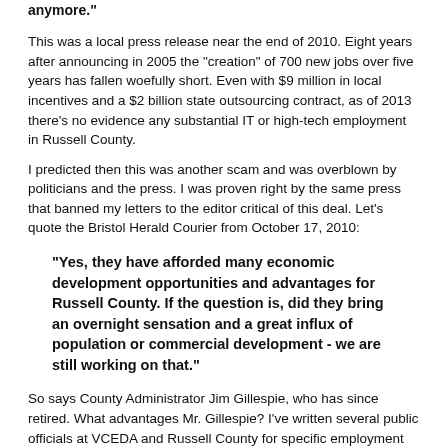anymore."
This was a local press release near the end of 2010. Eight years after announcing in 2005 the "creation" of 700 new jobs over five years has fallen woefully short. Even with $9 million in local incentives and a $2 billion state outsourcing contract, as of 2013 there's no evidence any substantial IT or high-tech employment in Russell County.
I predicted then this was another scam and was overblown by politicians and the press. I was proven right by the same press that banned my letters to the editor critical of this deal. Let's quote the Bristol Herald Courier from October 17, 2010:
"Yes, they have afforded many economic development opportunities and advantages for Russell County. If the question is, did they bring an overnight sensation and a great influx of population or commercial development - we are still working on that."
So says County Administrator Jim Gillespie, who has since retired. What advantages Mr. Gillespie? I've written several public officials at VCEDA and Russell County for specific employment numbers and other information. All information related to IT employment in the County is suppressed by the State of Virginia.
They did let it slip what was really going on. Cheryl Janey, vice president of communications for Northrop Grumman's information